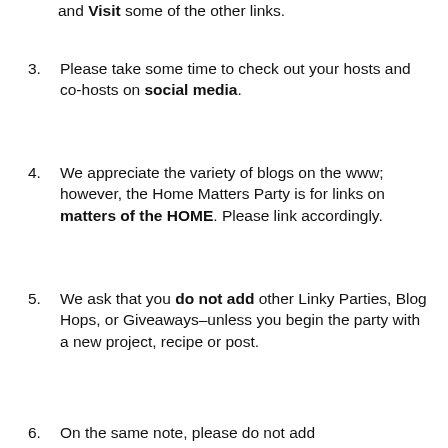and Visit some of the other links.
Please take some time to check out your hosts and co-hosts on social media.
We appreciate the variety of blogs on the www; however, the Home Matters Party is for links on matters of the HOME. Please link accordingly.
We ask that you do not add other Linky Parties, Blog Hops, or Giveaways–unless you begin the party with a new project, recipe or post.
On the same note, please do not add